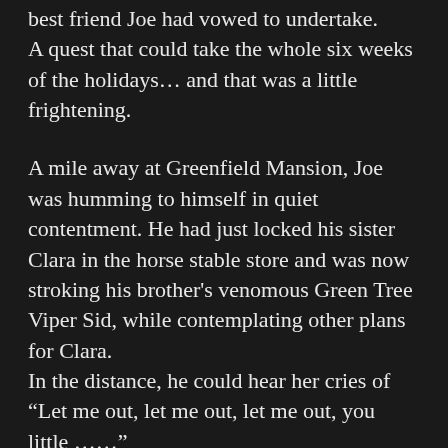best friend Joe had vowed to undertake. A quest that could take the whole six weeks of the holidays... and that was a little frightening.
A mile away at Greenfield Mansion, Joe was humming to himself in quiet contentment. He had just locked his sister Clara in the horse stable store and was now stroking his brother's venomous Green Tree Viper Sid, while contemplating other plans for Clara. In the distance, he could hear her cries of “Let me out, let me out, let me out, you little ……” But Joe could not hear her last word, he was too proud of how he had lured his horrible sister into the storehouse and then persuaded her to find the lost set of car keys he had secreted on the back shelf while best in class there was a